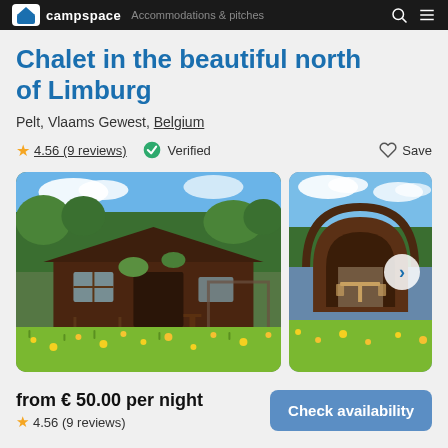campspace
Chalet in the beautiful north of Limburg
Pelt, Vlaams Gewest, Belgium
4.56 (9 reviews)  Verified  Save
[Figure (photo): Two photos of a dark wood chalet surrounded by green meadow with yellow wildflowers under blue sky]
from € 50.00 per night
4.56 (9 reviews)